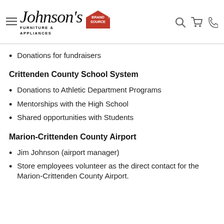Johnson's Furniture & Appliances Brand Source
Donations for fundraisers
Crittenden County School System
Donations to Athletic Department Programs
Mentorships with the High School
Shared opportunities with Students
Marion-Crittenden County Airport
Jim Johnson (airport manager)
Store employees volunteer as the direct contact for the Marion-Crittenden County Airport.